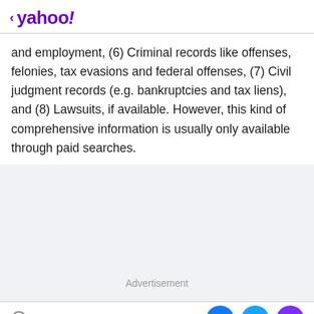< yahoo!
and employment, (6) Criminal records like offenses, felonies, tax evasions and federal offenses, (7) Civil judgment records (e.g. bankruptcies and tax liens), and (8) Lawsuits, if available. However, this kind of comprehensive information is usually only available through paid searches.
[Figure (other): Advertisement placeholder section with light gray background]
View comments | Facebook share | Twitter share | Email share